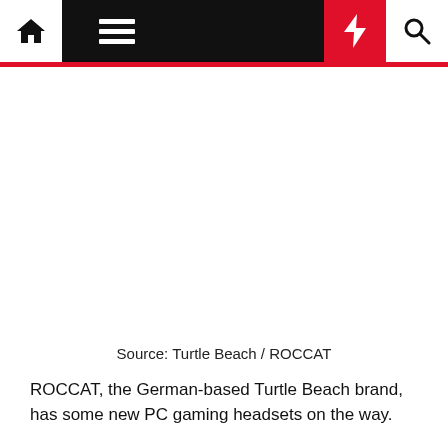Navigation bar with home, menu, moon, bolt, and search icons
[Figure (photo): White/blank image area representing a product photo placeholder]
Source: Turtle Beach / ROCCAT
ROCCAT, the German-based Turtle Beach brand, has some new PC gaming headsets on the way.